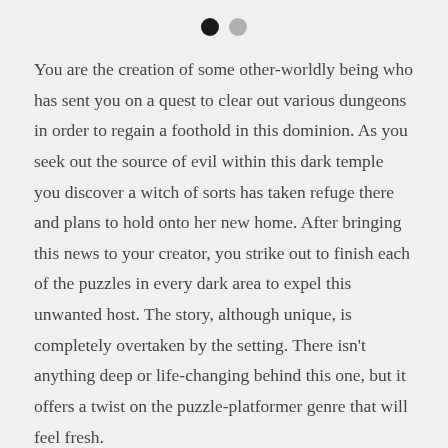• •
You are the creation of some other-worldly being who has sent you on a quest to clear out various dungeons in order to regain a foothold in this dominion. As you seek out the source of evil within this dark temple you discover a witch of sorts has taken refuge there and plans to hold onto her new home. After bringing this news to your creator, you strike out to finish each of the puzzles in every dark area to expel this unwanted host. The story, although unique, is completely overtaken by the setting. There isn't anything deep or life-changing behind this one, but it offers a twist on the puzzle-platformer genre that will feel fresh.